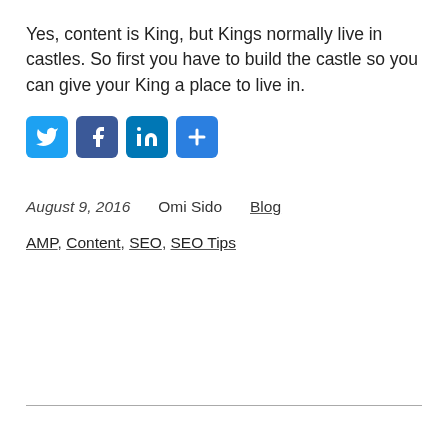Yes, content is King, but Kings normally live in castles. So first you have to build the castle so you can give your King a place to live in.
[Figure (infographic): Social share buttons: Twitter (blue bird icon), Facebook (blue f icon), LinkedIn (blue 'in' icon), and a blue plus/more icon]
August 9, 2016   Omi Sido   Blog
AMP, Content, SEO, SEO Tips